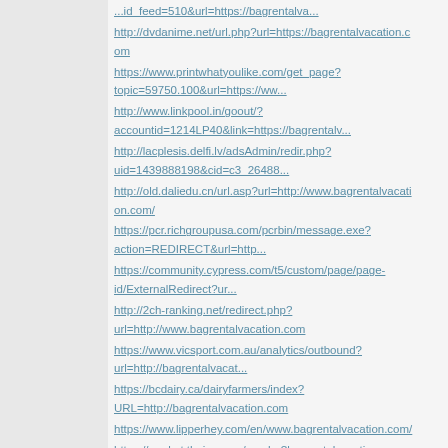...id_feed=510&url=https://bagrentalva...
http://dvdanime.net/url.php?url=https://bagrentalvacation.com
https://www.printwhatyoulike.com/get_page?topic=59750.100&url=https://ww...
http://www.linkpool.in/goout/?accountid=1214LP40&link=https://bagrentalv...
http://lacplesis.delfi.lv/adsAdmin/redir.php?uid=1439888198&cid=c3_26488...
http://old.daliedu.cn/url.asp?url=http://www.bagrentalvacation.com/
https://pcr.richgroupusa.com/pcrbin/message.exe?action=REDIRECT&url=http...
https://community.cypress.com/t5/custom/page/page-id/ExternalRedirect?ur...
http://2ch-ranking.net/redirect.php?url=http://www.bagrentalvacation.com
https://www.vicsport.com.au/analytics/outbound?url=http://bagrentalvacat...
https://bcdairy.ca/dairyfarmers/index?URL=http://bagrentalvacation.com
https://www.lipperhey.com/en/www.bagrentalvacation.com/
https://market.thaiza.com/go.php?bagrentalvacation.com
https://www.worldarchitecture.org/community/links/?waurl=https://bagrent...
http://www.greatmindsinstem.org/Redirect.aspx?destination=https://bagren...
http://www.uzo.matrixplus.ru/out.php?link=http://www.bagrentalvacation.com/
https://studiohire.com/admin-web-tel-process.php?memberid=4638&indentifi...
https://tver.eparhia.ru/index.asp?href=http://bagrentalvacation.com
http://www.stevelukather.com/news-articles/2016/04/steve-porcaro-to-rele...